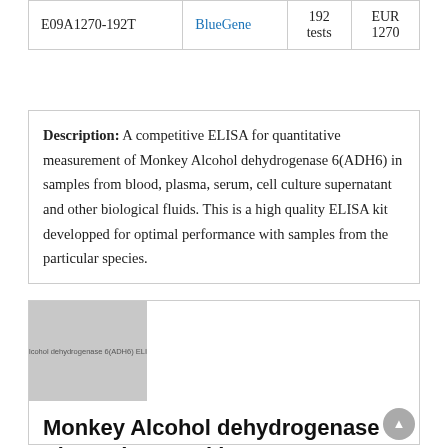|  |  | 192 tests | EUR 1270 |
| --- | --- | --- | --- |
| E09A1270-192T | BlueGene | 192 tests | EUR 1270 |
Description: A competitive ELISA for quantitative measurement of Monkey Alcohol dehydrogenase 6(ADH6) in samples from blood, plasma, serum, cell culture supernatant and other biological fluids. This is a high quality ELISA kit developped for optimal performance with samples from the particular species.
[Figure (photo): Product image thumbnail showing 'Alcohol dehydrogenase 6(ADH6) ELISA' label, gray placeholder image]
Monkey Alcohol dehydrogenase 6(ADH6) ELISA kit